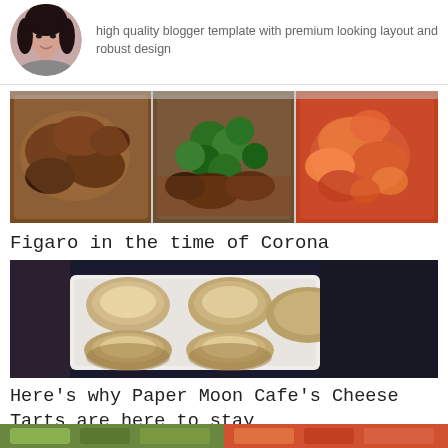[Figure (photo): Circular avatar photo of a woman with dark hair]
high quality blogger template with premium looking layout and robust design
[Figure (photo): Three plastic food containers with different Chinese dishes: braised meat, beef with broccoli, and spicy chicken]
Figaro in the time of Corona
[Figure (photo): Close-up of cheese tarts in a white rectangular box]
Here's why Paper Moon Cafe's Cheese Tarts are here to stay
[Figure (photo): Bottom strip showing partial food images on left (green) and right (orange-red)]